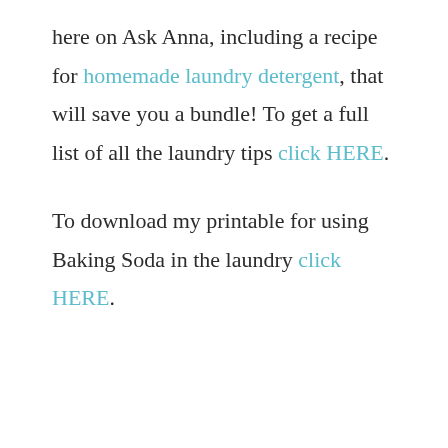here on Ask Anna, including a recipe for homemade laundry detergent, that will save you a bundle! To get a full list of all the laundry tips click HERE.
To download my printable for using Baking Soda in the laundry click HERE.